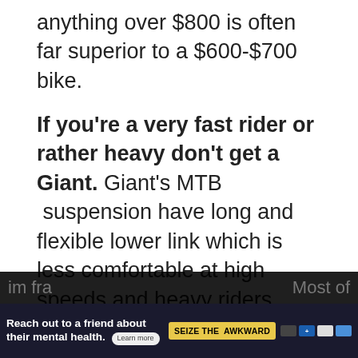anything over $800 is often far superior to a $600-$700 bike.
If you're a very fast rider or rather heavy don't get a Giant. Giant's MTB  suspension have long and flexible lower link which is less comfortable at high speeds and heavy riders might consider it a bit too flexible. Your weight might compress the suspension too much wasting energy and performance.
Only just a couple of years ago Trek had better geometry and suspension design but n... there's hardly any noticeable difference. The most
[Figure (infographic): Social sharing sidebar with heart/like button showing 24 likes and a share button]
[Figure (infographic): What's Next widget showing '6 Worst Bike Brands To...' with a thumbnail image]
[Figure (infographic): Advertisement bar at bottom: 'Reach out to a friend about their mental health. Learn more' with 'SEIZE THE AWKWARD' badge and logos]